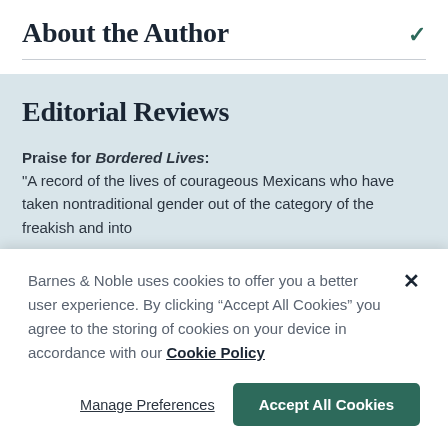About the Author
Editorial Reviews
Praise for Bordered Lives:
"A record of the lives of courageous Mexicans who have taken nontraditional gender out of the category of the freakish and into
Barnes & Noble uses cookies to offer you a better user experience. By clicking "Accept All Cookies" you agree to the storing of cookies on your device in accordance with our Cookie Policy
Manage Preferences
Accept All Cookies